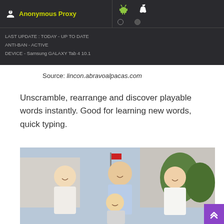[Figure (screenshot): Dark-themed app screenshot showing Anonymous Proxy selected, with Android and iOS icons, and device info: LAST UPDATE: TODAY - UP TO DATE, ANTI-BAN - ACTIVE, DEVICE - Samsung GALAXY Tab 4 10.1]
Source: lincon.abravoalpacas.com
Unscramble, rearrange and discover playable words instantly. Good for learning new words, quick typing.
[Figure (photo): Photo of a family of four (man, woman, teenage girl, young boy) posing outdoors, smiling]